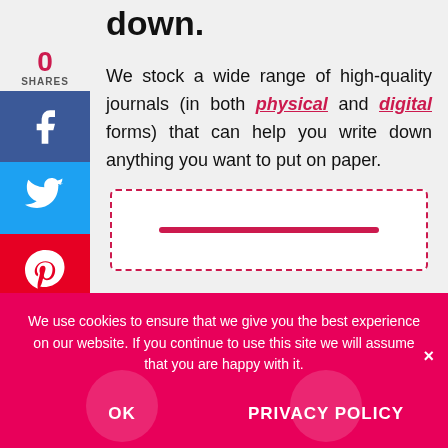down.
We stock a wide range of high-quality journals (in both physical and digital forms) that can help you write down anything you want to put on paper.
[Figure (other): Dashed pink/magenta bordered box with a pink horizontal bar inside, likely a signup or input field widget]
We use cookies to ensure that we give you the best experience on our website. If you continue to use this site we will assume that you are happy with it.
OK    PRIVACY POLICY